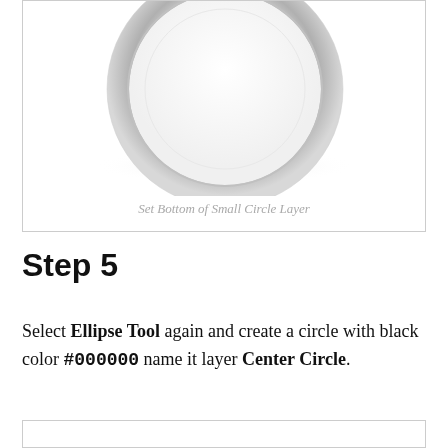[Figure (illustration): A rendered circle/ring graphic showing a silver/gray circle with a white center and shadow, representing the 'Small Circle Layer' in a graphic design tutorial. The bottom portion of the image is mostly white space.]
Set Bottom of Small Circle Layer
Step 5
Select Ellipse Tool again and create a circle with black color #000000 name it layer Center Circle.